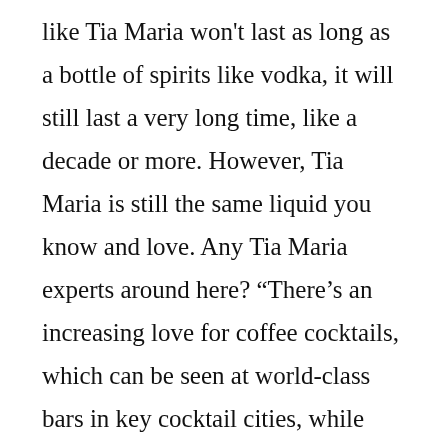like Tia Maria won't last as long as a bottle of spirits like vodka, it will still last a very long time, like a decade or more. However, Tia Maria is still the same liquid you know and love. Any Tia Maria experts around here? “There’s an increasing love for coffee cocktails, which can be seen at world-class bars in key cocktail cities, while artisan coffee houses are now serving cocktails through the night as a café nightlife culture continues to emerge,” Matteo says. Tall, heavily-iced glass of a bottle exotic cocktails